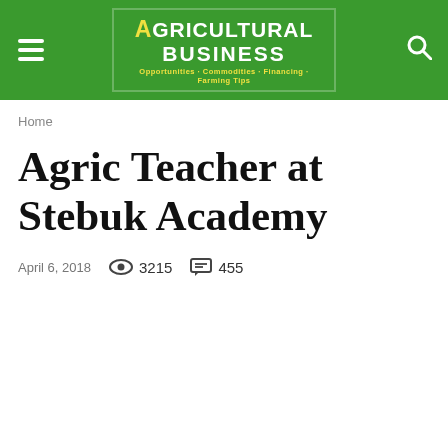Agricultural Business — Opportunities · Commodities · Financing · Farming Tips
Home
Agric Teacher at Stebuk Academy
April 6, 2018   3215   455